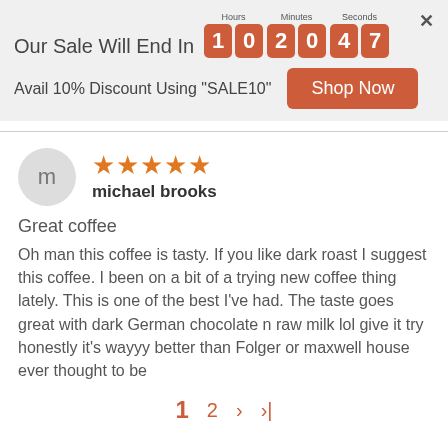Our Sale Will End In  10  20  47  (Hours: 10, Minutes: 20, Seconds: 47)
Avail 10% Discount Using "SALE10"
Shop Now
m
★★★★★  michael brooks
Great coffee
Oh man this coffee is tasty. If you like dark roast I suggest this coffee. I been on a bit of a trying new coffee thing lately. This is one of the best I've had. The taste goes great with dark German chocolate n raw milk lol give it try honestly it's wayyy better than Folger or maxwell house ever thought to be
1  2  ›  ›|